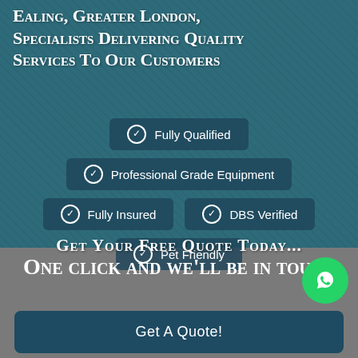Ealing, Greater London, Specialists Delivering Quality Services To Our Customers
Fully Qualified
Professional Grade Equipment
Fully Insured
DBS Verified
Pet Friendly
Get your free quote today...
One click and we'll be in touch
[Figure (logo): WhatsApp icon button (green circle with phone handset logo)]
Get A Quote!